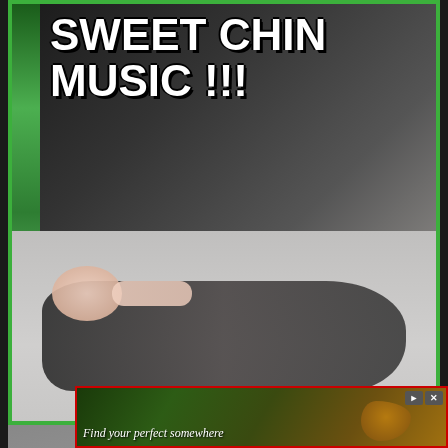[Figure (photo): Internet meme (top panel): A UFC/MMA fighter knocked out on the mat with text overlay reading 'SWEET CHIN MUSIC !!!' in bold white letters. Green border around the image. Below is a smiling man with long brown hair (Shawn Michaels, WWE wrestler) looking satisfied. Text at bottom reads 'WORKS EVERY TIME !'. An advertisement banner at the bottom reads 'Find your perfect somewhere'.]
SWEET CHIN MUSIC !!!
WORKS EVERY TIME !
Find your perfect somewhere